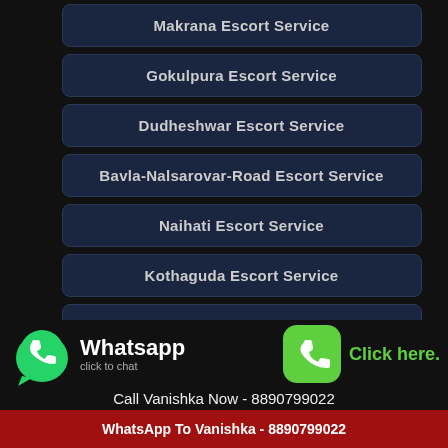Makrana Escort Service
Gokulpura Escort Service
Dudheshwar Escort Service
Bavla-Nalsarovar-Road Escort Service
Naihati Escort Service
Kothaguda Escort Service
Nallurhalli Escort Service
[Figure (infographic): WhatsApp click to chat banner with green WhatsApp icon on left and green phone icon with 'Click here.' on right]
Call Vanishka Now - 8890799022
WhatsApp To Vanishka - 8890799022